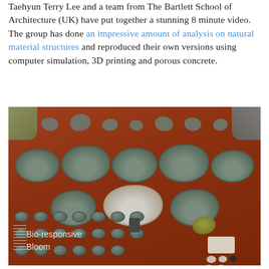Taehyun Terry Lee and a team from The Bartlett School of Architecture (UK) have put together a stunning 8 minute video. The group has done an impressive amount of analysis on natural material structures and reproduced their own versions using computer simulation, 3D printing and porous concrete.
[Figure (photo): Exhibition table displaying numerous 3D-printed porous concrete structures resembling coral, rocks, and cylindrical discs arranged on an orange-red surface. A label reads 'Bio-responsive Bloom'.]